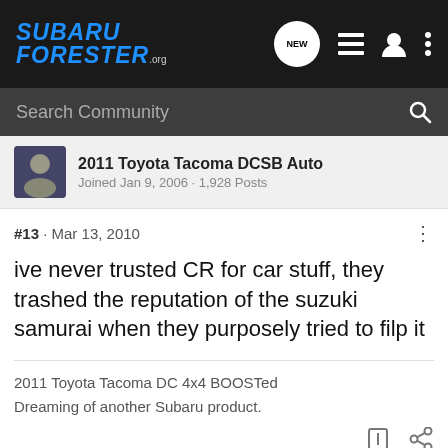SUBARU FORESTER.org
Search Community
2011 Toyota Tacoma DCSB Auto
Joined Jan 9, 2006 · 1,928 Posts
#13 · Mar 13, 2010
ive never trusted CR for car stuff, they trashed the reputation of the suzuki samurai when they purposely tried to filp it
2011 Toyota Tacoma DC 4x4 BOOSTed
Dreaming of another Subaru product.
[Figure (screenshot): Nitto ALL-NEW NOMAD GRAPPLER CROSSOVER-TERRAIN TIRE advertisement banner with tire and car image]